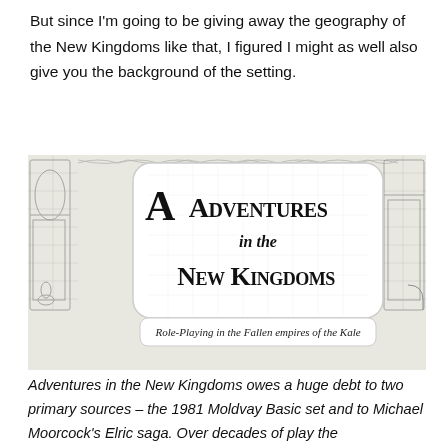But since I'm going to be giving away the geography of the New Kingdoms like that, I figured I might as well also give you the background of the setting.
[Figure (illustration): Book cover image: 'Adventures in the New Kingdoms' - gothic blackletter title text on a light rounded rectangle, set against a detailed pen-and-ink dungeon/ruins background. Subtitle reads: 'Role-Playing in the Fallen empires of the Kale'.]
Adventures in the New Kingdoms owes a huge debt to two primary sources – the 1981 Moldvay Basic set and to Michael Moorcock's Elric saga. Over decades of play the